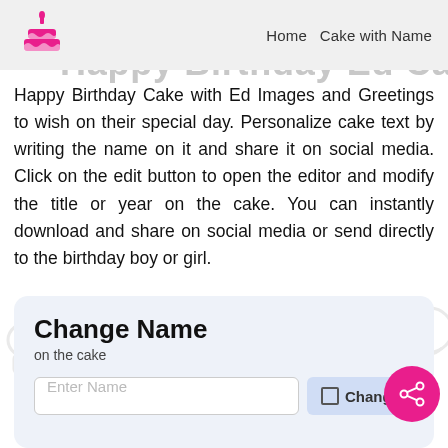Home  Cake with Name
Happy Birthday Ed Cake
Happy Birthday Cake with Ed Images and Greetings to wish on their special day. Personalize cake text by writing the name on it and share it on social media. Click on the edit button to open the editor and modify the title or year on the cake. You can instantly download and share on social media or send directly to the birthday boy or girl.
Change Name
on the cake